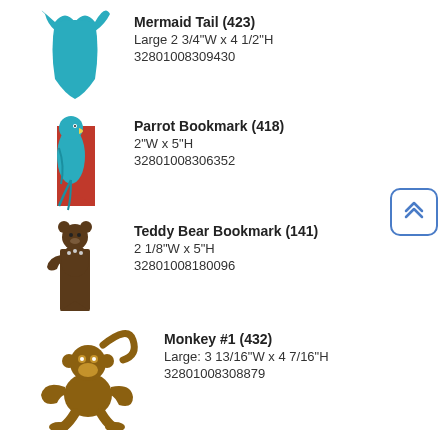[Figure (illustration): Teal/blue mermaid tail silhouette]
Mermaid Tail (423)
Large 2 3/4"W x 4 1/2"H
32801008309430
[Figure (illustration): Blue parrot bookmark on red bookmark silhouette]
Parrot Bookmark (418)
2"W x 5"H
32801008306352
[Figure (illustration): Brown teddy bear bookmark silhouette]
Teddy Bear Bookmark (141)
2 1/8"W x 5"H
32801008180096
[Figure (illustration): Brown monkey #1 silhouette]
Monkey #1 (432)
Large: 3 13/16"W x 4 7/16"H
32801008308879